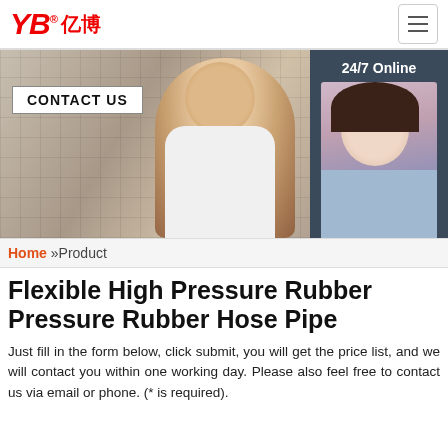[Figure (logo): YB亿博 company logo in red with registered trademark symbol]
[Figure (photo): Banner photo showing a man giving thumbs up in front of a CONTACT US sign, with a 24/7 Online chat panel featuring a female customer service agent wearing a headset]
Home »Product
Flexible High Pressure Rubber Pressure Rubber Hose Pipe
Just fill in the form below, click submit, you will get the price list, and we will contact you within one working day. Please also feel free to contact us via email or phone. (* is required).